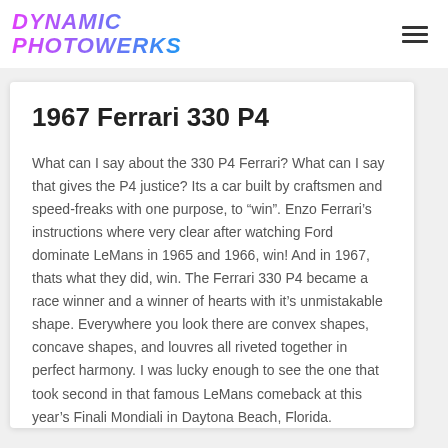DYNAMIC PHOTOWERKS
1967 Ferrari 330 P4
What can I say about the 330 P4 Ferrari? What can I say that gives the P4 justice? Its a car built by craftsmen and speed-freaks with one purpose, to “win”. Enzo Ferrari’s instructions where very clear after watching Ford dominate LeMans in 1965 and 1966, win! And in 1967, thats what they did, win. The Ferrari 330 P4 became a race winner and a winner of hearts with it’s unmistakable shape. Everywhere you look there are convex shapes, concave shapes, and louvres all riveted together in perfect harmony. I was lucky enough to see the one that took second in that famous LeMans comeback at this year’s Finali Mondiali in Daytona Beach, Florida. Petrolicious did a wonderful video on this one, may want to face...